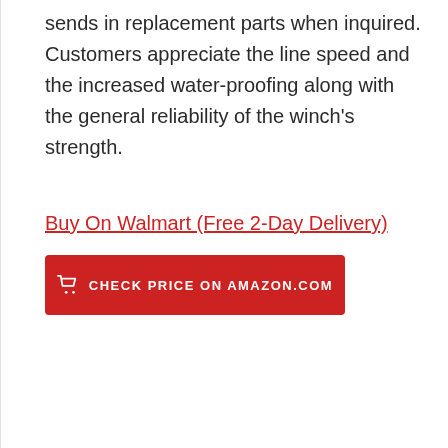sends in replacement parts when inquired. Customers appreciate the line speed and the increased water-proofing along with the general reliability of the winch's strength.
Buy On Walmart (Free 2-Day Delivery)
CHECK PRICE ON AMAZON.COM